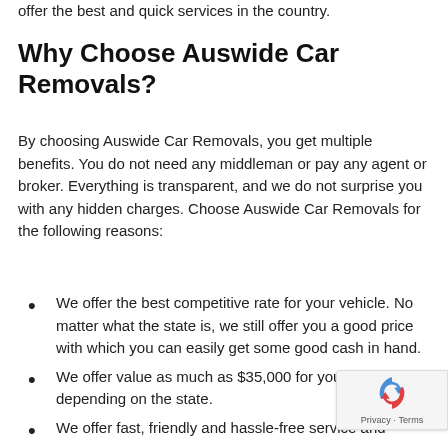offer the best and quick services in the country.
Why Choose Auswide Car Removals?
By choosing Auswide Car Removals, you get multiple benefits. You do not need any middleman or pay any agent or broker. Everything is transparent, and we do not surprise you with any hidden charges. Choose Auswide Car Removals for the following reasons:
We offer the best competitive rate for your vehicle. No matter what the state is, we still offer you a good price with which you can easily get some good cash in hand.
We offer value as much as $35,000 for your vehicle, depending on the state.
We offer fast, friendly and hassle-free service and